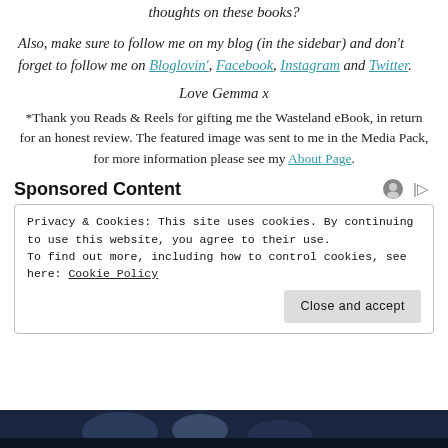thoughts on these books?
Also, make sure to follow me on my blog (in the sidebar) and don't forget to follow me on Bloglovin', Facebook, Instagram and Twitter.
Love Gemma x
*Thank you Reads & Reels for gifting me the Wasteland eBook, in return for an honest review. The featured image was sent to me in the Media Pack, for more information please see my About Page.
Sponsored Content
Privacy & Cookies: This site uses cookies. By continuing to use this website, you agree to their use. To find out more, including how to control cookies, see here: Cookie Policy
[Figure (photo): Dark image strip at bottom of page showing partial photo]